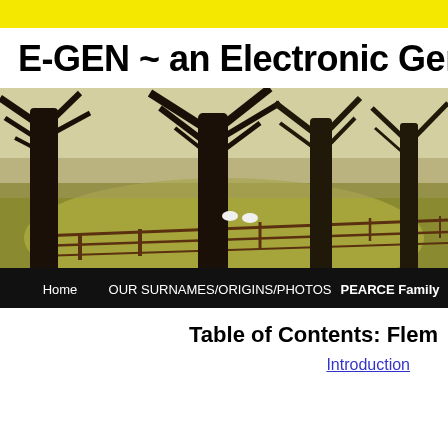E-GEN ~ an Electronic Geneal
[Figure (photo): A row of large bare deciduous trees along a wooden fence in a green field, with sheep visible in the background and long shadows on the grass. Navigation bar at bottom with: Home | OUR SURNAMES/ORIGINS/PHOTOS | PEARCE Family]
Table of Contents: Flem
Introduction